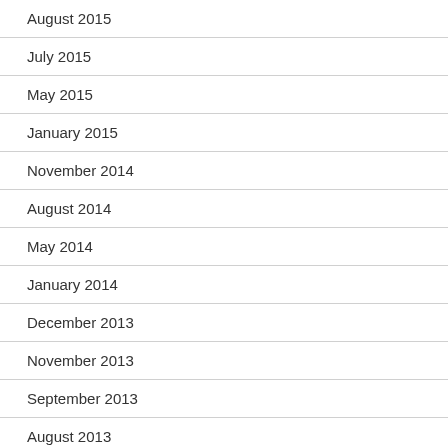August 2015
July 2015
May 2015
January 2015
November 2014
August 2014
May 2014
January 2014
December 2013
November 2013
September 2013
August 2013
April 2013